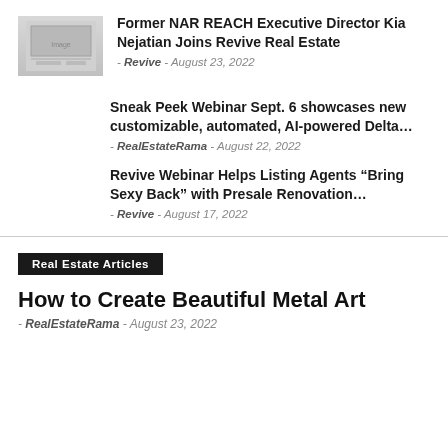[Figure (photo): Thumbnail image placeholder for news article]
Former NAR REACH Executive Director Kia Nejatian Joins Revive Real Estate
- Revive - August 23, 2022
Sneak Peek Webinar Sept. 6 showcases new customizable, automated, AI-powered Delta…
- RealEstateRama - August 22, 2022
Revive Webinar Helps Listing Agents “Bring Sexy Back” with Presale Renovation…
- Revive - August 17, 2022
Real Estate Articles
How to Create Beautiful Metal Art
- RealEstateRama - August 23, 2022